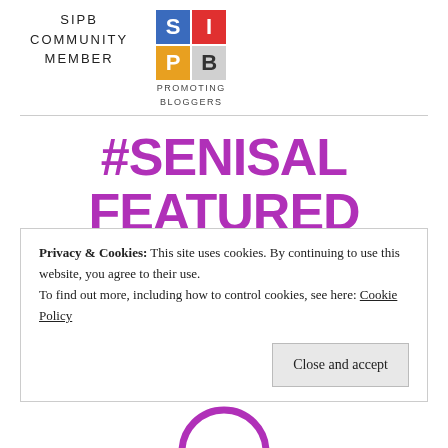[Figure (logo): SIPB Community Member logo with grid of colored squares (S=blue, I=red, P=orange, B=gray) and text PROMOTING BLOGGERS below, alongside text SIPB COMMUNITY MEMBER]
#SENISAL FEATURED WINNER
Privacy & Cookies: This site uses cookies. By continuing to use this website, you agree to their use.
To find out more, including how to control cookies, see here: Cookie Policy
Close and accept